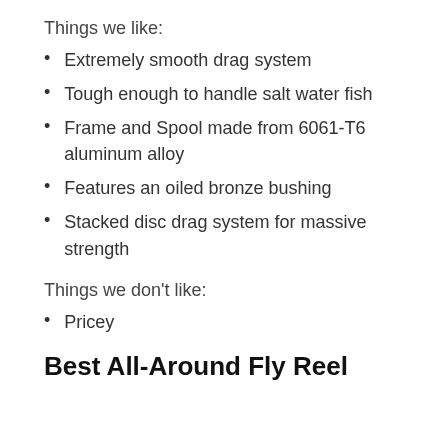Things we like:
Extremely smooth drag system
Tough enough to handle salt water fish
Frame and Spool made from 6061-T6 aluminum alloy
Features an oiled bronze bushing
Stacked disc drag system for massive strength
Things we don't like:
Pricey
Best All-Around Fly Reel